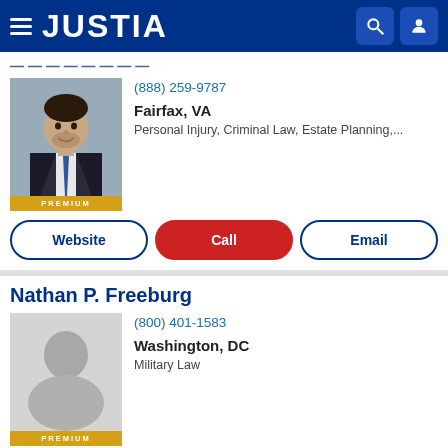JUSTIA
[Figure (photo): Headshot of attorney in suit and tie]
(888) 259-9787
Fairfax, VA
Personal Injury, Criminal Law, Estate Planning,...
Website | Call | Email
Nathan P. Freeburg
[Figure (photo): Default placeholder headshot silhouette]
(800) 401-1583
Washington, DC
Military Law
Website | Call | Email